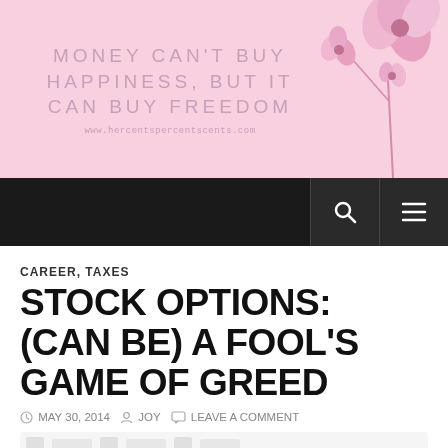[Figure (illustration): Pink blog header banner with text 'MONEY CAN'T BUY HAPPINESS, BUT IT CAN BUY FREEDOM' and website URL, with decorative pink flower illustration on the right]
MONEY CAN'T BUY HAPPINESS, BUT IT CAN BUY FREEDOM
www.hercentspercentscents.com
CAREER, TAXES
STOCK OPTIONS: (CAN BE) A FOOL'S GAME OF GREED
MAY 30, 2014   JOY   LEAVE A COMMENT
I'll keep this brief, because I've already said it all before, but